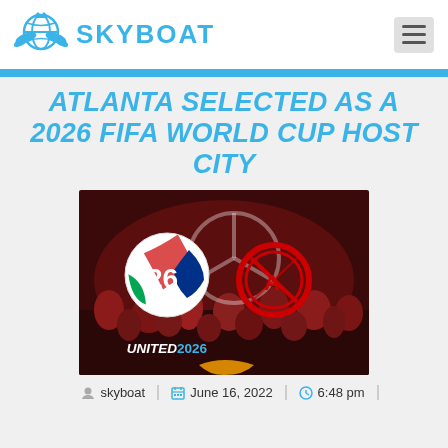[Figure (logo): Skyboat logo with globe and wings icon in blue, followed by SKYBOAT text in bold blue]
ATLANTA SELECTED AS A 2026 FIFA WORLD CUP HOST CITY
[Figure (photo): Photo showing UNITED2026 branding with FIFA World Cup 2026 logo (soccer ball design with green, white, blue, red colors) and Atlanta United logo in red, with crowd of fans in background at a stadium with dark red lighting]
skyboat  |  June 16, 2022  |  6:48 pm